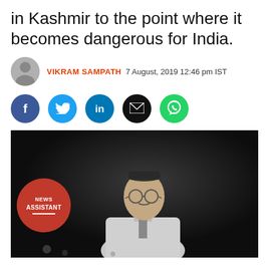in Kashmir to the point where it becomes dangerous for India.
VIKRAM SAMPATH 7 August, 2019 12:46 pm IST
[Figure (illustration): Social media share buttons: Facebook (blue), Twitter (light blue), LinkedIn (blue), Email (black), WhatsApp (green)]
[Figure (photo): Black and white historical photograph of a man wearing a Gandhi cap and glasses, dressed in a white jacket, against a dark background. News Assistant logo watermark visible in lower left.]